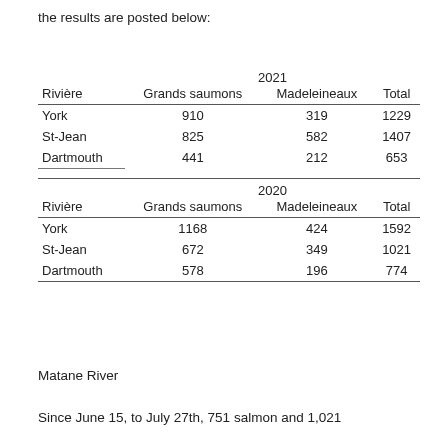the results are posted below:
| Rivière | Grands saumons | Madeleineaux | Total |
| --- | --- | --- | --- |
| York | 910 | 319 | 1229 |
| St-Jean | 825 | 582 | 1407 |
| Dartmouth | 441 | 212 | 653 |
| Rivière | Grands saumons | Madeleineaux | Total |
| --- | --- | --- | --- |
| York | 1168 | 424 | 1592 |
| St-Jean | 672 | 349 | 1021 |
| Dartmouth | 578 | 196 | 774 |
Matane River
Since June 15, to July 27th, 751 salmon and 1,021